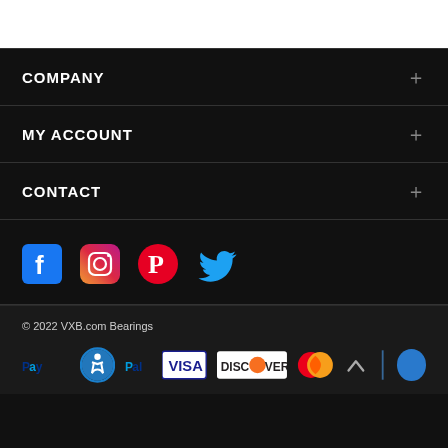COMPANY
MY ACCOUNT
CONTACT
[Figure (other): Social media icons: Facebook, Instagram, Pinterest, Twitter]
© 2022 VXB.com Bearings
[Figure (other): Payment method logos: PayPal, Accessibility icon, Visa, Discover, Mastercard, scroll-up arrow, vertical bar, blue circle]